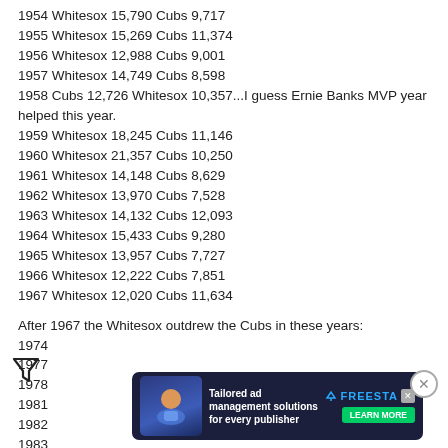1954 Whitesox 15,790 Cubs 9,717
1955 Whitesox 15,269 Cubs 11,374
1956 Whitesox 12,988 Cubs 9,001
1957 Whitesox 14,749 Cubs 8,598
1958 Cubs 12,726 Whitesox 10,357...I guess Ernie Banks MVP year helped this year.
1959 Whitesox 18,245 Cubs 11,146
1960 Whitesox 21,357 Cubs 10,250
1961 Whitesox 14,148 Cubs 8,629
1962 Whitesox 13,970 Cubs 7,528
1963 Whitesox 14,132 Cubs 12,093
1964 Whitesox 15,433 Cubs 9,280
1965 Whitesox 13,957 Cubs 7,727
1966 Whitesox 12,222 Cubs 7,851
1967 Whitesox 12,020 Cubs 11,634
After 1967 the Whitesox outdrew the Cubs in these years:
1974
1977
1978
1981
1982
1983
1984....This year was kinda surprising to win but the sox won 26,383 to 26,345
1985
1991
1992
1994...That strike really lost alot of Sox fans this was the last year the Sox beat em in attendance.
[Figure (screenshot): Advertisement overlay: Tailored ad management solutions for every publisher — Freestar, with Learn More button]